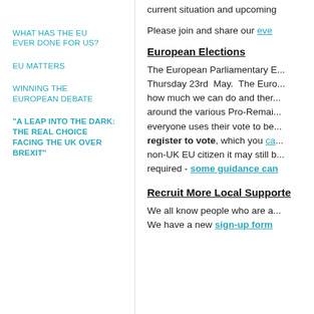WHAT HAS THE EU EVER DONE FOR US?
EU MATTERS
WINNING THE EUROPEAN DEBATE
"A LEAP INTO THE DARK: THE REAL CHOICE FACING THE UK OVER BREXIT"
current situation and upcoming
Please join and share our eve
European Elections
The European Parliamentary E... Thursday 23rd May. The Euro... how much we can do and ther... around the various Pro-Remai... everyone uses their vote to be... register to vote, which you ca... non-UK EU citizen it may still b... required - some guidance ca...
Recruit More Local Supporte
We all know people who are a... We have a new sign-up form